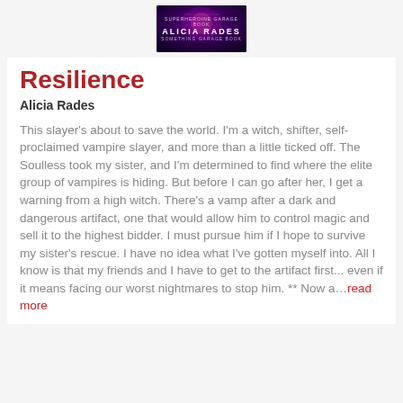[Figure (photo): Book cover for 'Resilience' by Alicia Rades with dark purple/red fantasy design]
Resilience
Alicia Rades
This slayer's about to save the world. I'm a witch, shifter, self-proclaimed vampire slayer, and more than a little ticked off. The Soulless took my sister, and I'm determined to find where the elite group of vampires is hiding. But before I can go after her, I get a warning from a high witch. There's a vamp after a dark and dangerous artifact, one that would allow him to control magic and sell it to the highest bidder. I must pursue him if I hope to survive my sister's rescue. I have no idea what I've gotten myself into. All I know is that my friends and I have to get to the artifact first... even if it means facing our worst nightmares to stop him. ** Now a...read more